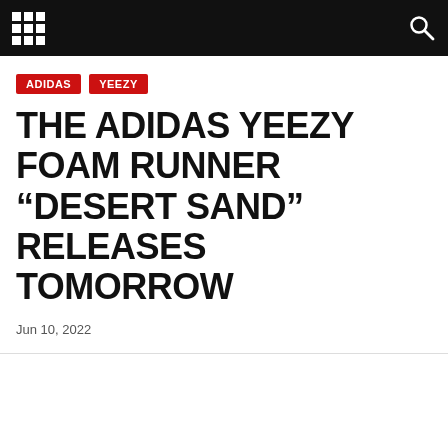ADIDAS
YEEZY
THE ADIDAS YEEZY FOAM RUNNER “DESERT SAND” RELEASES TOMORROW
Jun 10, 2022